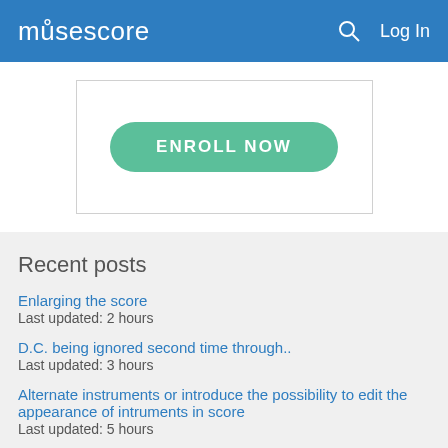musescore  Log In
[Figure (screenshot): ENROLL NOW button in a rounded rectangle with teal/green background inside a bordered box]
Recent posts
Enlarging the score
Last updated: 2 hours
D.C. being ignored second time through..
Last updated: 3 hours
Alternate instruments or introduce the possibility to edit the appearance of intruments in score
Last updated: 5 hours
MU4 Icon only side bar button